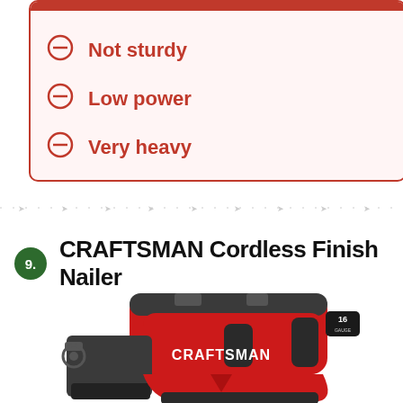Not sturdy
Low power
Very heavy
9. CRAFTSMAN Cordless Finish Nailer
[Figure (photo): CRAFTSMAN Cordless Finish Nailer 16 Gauge, red and black power tool]